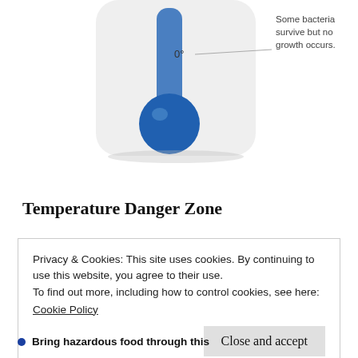[Figure (illustration): Partial thermometer diagram showing a blue thermometer bulb at the bottom with '0°' label and a callout line pointing right with text 'Some bacteria survive but no growth occurs.' on a light gray/white rounded rectangle background.]
Temperature Danger Zone
Privacy & Cookies: This site uses cookies. By continuing to use this website, you agree to their use.
To find out more, including how to control cookies, see here:
Cookie Policy
Close and accept
Bring hazardous food through this